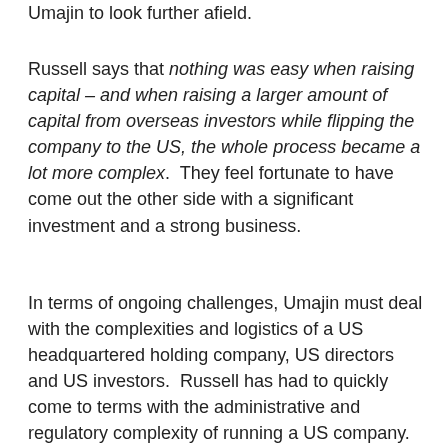Umajin to look further afield.
Russell says that nothing was easy when raising capital – and when raising a larger amount of capital from overseas investors while flipping the company to the US, the whole process became a lot more complex.  They feel fortunate to have come out the other side with a significant investment and a strong business.
In terms of ongoing challenges, Umajin must deal with the complexities and logistics of a US headquartered holding company, US directors and US investors.  Russell has had to quickly come to terms with the administrative and regulatory complexity of running a US company.  And David continues to travel to the US, to Canada and to the UK, rarely being found back